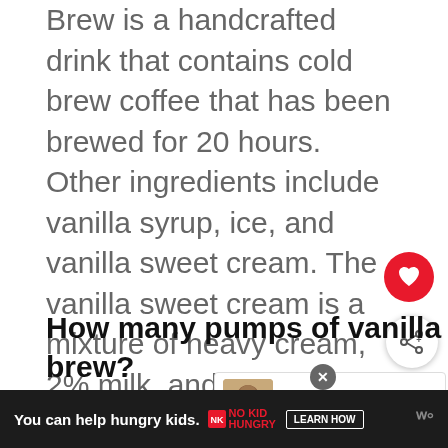Brew is a handcrafted drink that contains cold brew coffee that has been brewed for 20 hours. Other ingredients include vanilla syrup, ice, and vanilla sweet cream. The vanilla sweet cream is a mixture of heavy cream, 2% milk, and vanilla syrup.
How many pumps of vanilla are in a vanilla sweet cream cold brew?
Vanilla Sweet Cream Cold Brew available in four sizes: tall, grande, venti a...